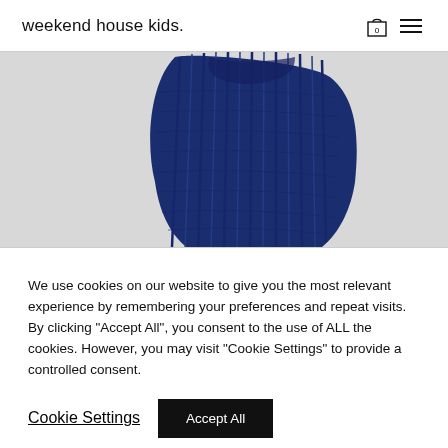weekend house kids.
[Figure (photo): Close-up photo of a dark navy blue ribbed knit scarf or garment against a light grey background]
We use cookies on our website to give you the most relevant experience by remembering your preferences and repeat visits. By clicking "Accept All", you consent to the use of ALL the cookies. However, you may visit "Cookie Settings" to provide a controlled consent.
Cookie Settings | Accept All